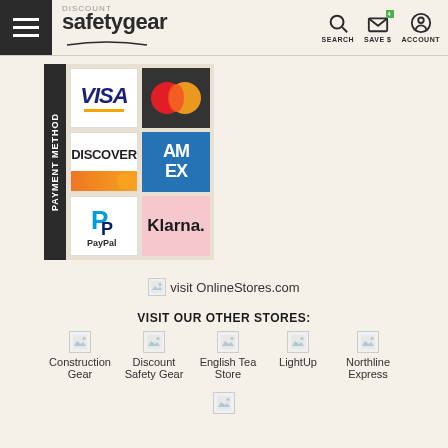Discount Safety Gear — SEARCH, SAVE $, ACCOUNT
[Figure (infographic): Payment methods section showing VISA, Mastercard, Discover, American Express, PayPal, and Klarna logos on a dark label reading PAYMENT METHODS]
[Figure (other): Broken image placeholder followed by text: visit OnlineStores.com]
visit OnlineStores.com
VISIT OUR OTHER STORES:
[Figure (other): Broken image placeholder for Construction Gear store]
Construction Gear
[Figure (other): Broken image placeholder for Discount Safety Gear store]
Discount Safety Gear
[Figure (other): Broken image placeholder for English Tea Store]
English Tea Store
[Figure (other): Broken image placeholder for LightUp store]
LightUp
[Figure (other): Broken image placeholder for Northline Express store]
Northline Express
[Figure (other): Broken image placeholder at bottom of page]